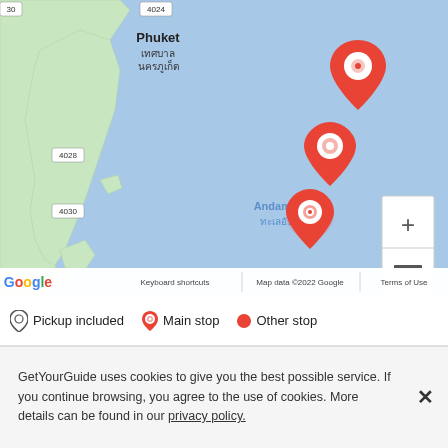[Figure (map): Google Maps screenshot showing the Andaman Sea area near Phuket, Thailand, with road labels 4024, 4028, 4030, Thai text for Phuket municipality, three red map pin markers indicating tour stops, zoom controls, and the Google logo and attribution bar at the bottom.]
Pickup included   Main stop   Other stop
GetYourGuide uses cookies to give you the best possible service. If you continue browsing, you agree to the use of cookies. More details can be found in our privacy policy.